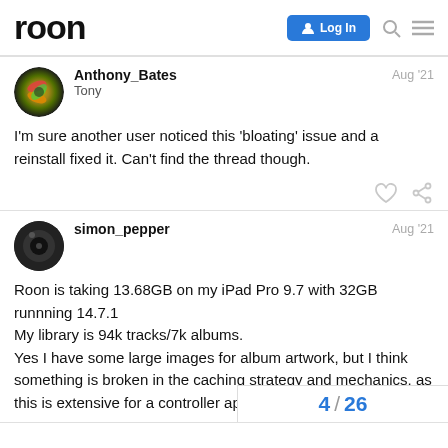roon | Log In
Anthony_Bates
Tony
Aug '21
I'm sure another user noticed this 'bloating' issue and a reinstall fixed it. Can't find the thread though.
simon_pepper
Aug '21
Roon is taking 13.68GB on my iPad Pro 9.7 with 32GB runnning 14.7.1
My library is 94k tracks/7k albums.
Yes I have some large images for album artwork, but I think something is broken in the caching strategy and mechanics, as this is extensive for a controller application
4 / 26